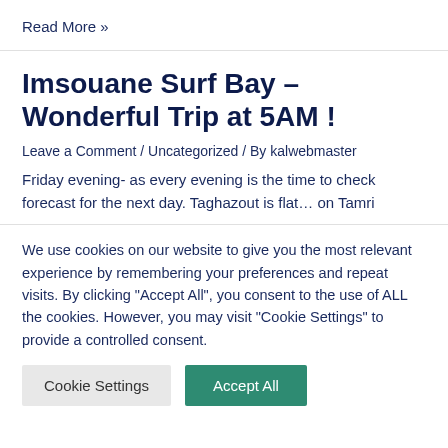Read More »
Imsouane Surf Bay – Wonderful Trip at 5AM !
Leave a Comment / Uncategorized / By kalwebmaster
Friday evening- as every evening is the time to check forecast for the next day. Taghazout is flat… on Tamri
We use cookies on our website to give you the most relevant experience by remembering your preferences and repeat visits. By clicking "Accept All", you consent to the use of ALL the cookies. However, you may visit "Cookie Settings" to provide a controlled consent.